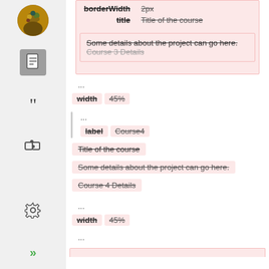borderWidth  2px
title  Title of the course
Some details about the project can go here.
Course 3 Details
...
width  45%
...
label  Course4
Title of the course
Some details about the project can go here.
Course 4 Details
...
width  45%
...